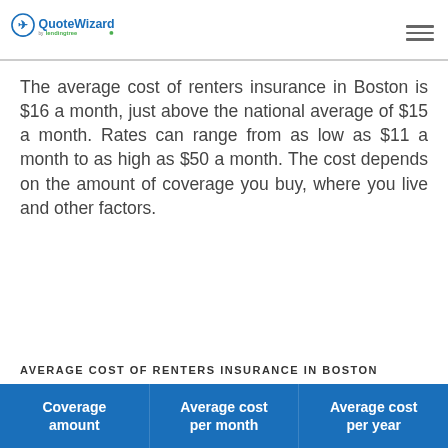QuoteWizard by LendingTree
The average cost of renters insurance in Boston is $16 a month, just above the national average of $15 a month. Rates can range from as low as $11 a month to as high as $50 a month. The cost depends on the amount of coverage you buy, where you live and other factors.
AVERAGE COST OF RENTERS INSURANCE IN BOSTON
| Coverage amount | Average cost per month | Average cost per year |
| --- | --- | --- |